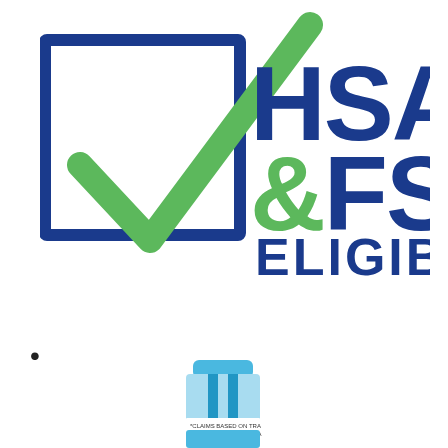[Figure (logo): HSA & FSA Eligible logo with green checkmark inside a blue square outline, 'HSA' in large blue bold text, '&FSA' in large blue bold text with green ampersand, 'ELIGIBLE' in smaller blue bold text below]
[Figure (photo): A small blue medical device or inhaler product with text reading '*CLAIMS BASED ON TRA... NOT ACCEPTED MEDICA...' on a white label]